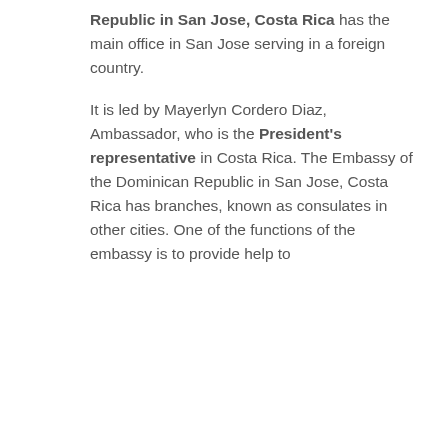Republic in San Jose, Costa Rica has the main office in San Jose serving in a foreign country.

It is led by Mayerlyn Cordero Diaz, Ambassador, who is the President's representative in Costa Rica. The Embassy of the Dominican Republic in San Jose, Costa Rica has branches, known as consulates in other cities. One of the functions of the embassy is to provide help to